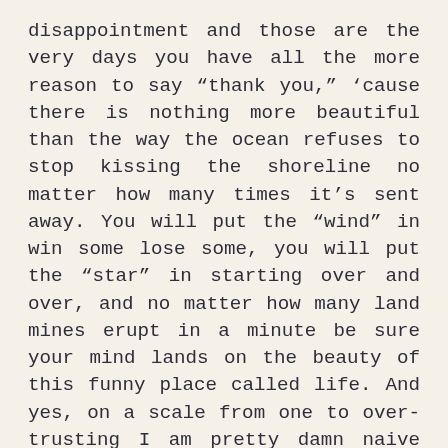disappointment and those are the very days you have all the more reason to say “thank you,” ‘cause there is nothing more beautiful than the way the ocean refuses to stop kissing the shoreline no matter how many times it’s sent away. You will put the “wind” in win some lose some, you will put the “star” in starting over and over, and no matter how many land mines erupt in a minute be sure your mind lands on the beauty of this funny place called life. And yes, on a scale from one to over-trusting I am pretty damn naive but I want her to know that this world is made out of sugar. It can crumble so easily but don’t be